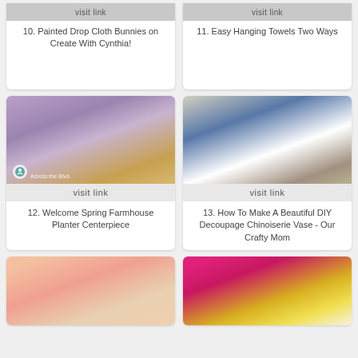10. Painted Drop Cloth Bunnies on Create With Cynthia!
11. Easy Hanging Towels Two Ways
[Figure (photo): Purple and lavender flowers in a white ceramic dish labeled WELCOME SPRING, on a wooden surface]
12. Welcome Spring Farmhouse Planter Centerpiece
[Figure (photo): Blue and white chinoiserie vase with white flowers, geometric terrarium, and small white candle on a tray with chevron pattern]
13. How To Make A Beautiful DIY Decoupage Chinoiserie Vase - Our Crafty Mom
[Figure (photo): Pink and peachy flowers, partially visible at bottom of page]
[Figure (photo): Hot pink Easter eggs/balls and gold glitter decorations, partially visible at bottom of page]